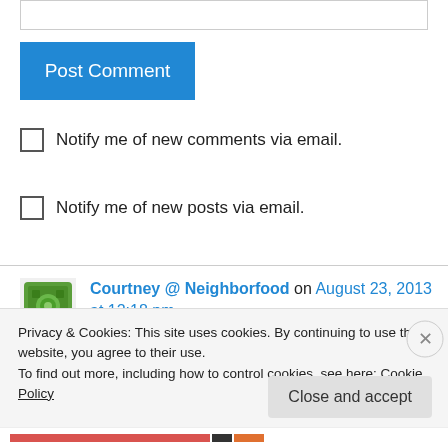[Figure (screenshot): Input text box (empty, top of page)]
Post Comment
Notify me of new comments via email.
Notify me of new posts via email.
Courtney @ Neighborfood on August 23, 2013 at 12:18 pm
Thanks for this! We're planning our yearly trip to
Privacy & Cookies: This site uses cookies. By continuing to use this website, you agree to their use.
To find out more, including how to control cookies, see here: Cookie Policy
Close and accept